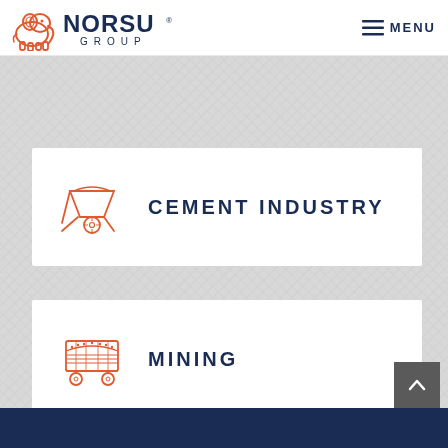NORSU GROUP — MENU
[Figure (logo): Norsu Group logo with elephant icon and NORSU GROUP text]
[Figure (illustration): Cement industry wheelbarrow icon in orange outline style]
CEMENT INDUSTRY
[Figure (illustration): Mining cart/trolley icon in orange outline style]
MINING